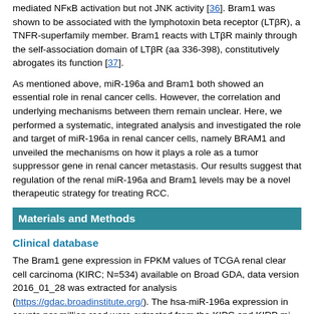mediated NFκB activation but not JNK activity [36]. Bram1 was shown to be associated with the lymphotoxin beta receptor (LTβR), a TNFR-superfamily member. Bram1 reacts with LTβR mainly through the self-association domain of LTβR (aa 336-398), constitutively abrogates its function [37].
As mentioned above, miR-196a and Bram1 both showed an essential role in renal cancer cells. However, the correlation and underlying mechanisms between them remain unclear. Here, we performed a systematic, integrated analysis and investigated the role and target of miR-196a in renal cancer cells, namely BRAM1 and unveiled the mechanisms on how it plays a role as a tumor suppressor gene in renal cancer metastasis. Our results suggest that regulation of the renal miR-196a and Bram1 levels may be a novel therapeutic strategy for treating RCC.
Materials and Methods
Clinical database
The Bram1 gene expression in FPKM values of TCGA renal clear cell carcinoma (KIRC; N=534) available on Broad GDA, data version 2016_01_28 was extracted for analysis (https://gdac.broadinstitute.org/). The hsa-miR-196a expression in counts per million read were extracted from the KIPC and KIRP mi-RNA-seq.
Cell culture
Human cell line HEK293, HEK293T, 786-O and Caki1 were obtained from American Type Culture Collection (ATCC, Manassas, VA, USA), RCC4 cell line was kindly provided by Dr. John Yuen, Department of Urology,